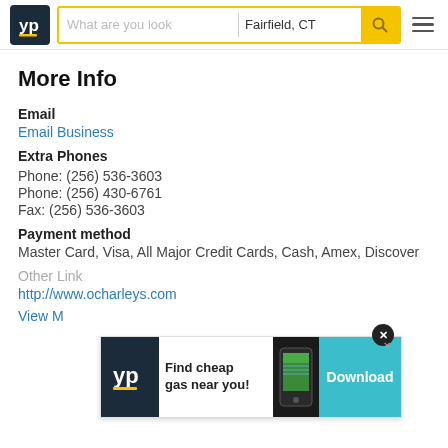YP | What are you looking for | Fairfield, CT
More Info
Email
Email Business
Extra Phones
Phone: (256) 536-3603
Phone: (256) 430-6761
Fax: (256) 536-3603
Payment method
Master Card, Visa, All Major Credit Cards, Cash, Amex, Discover
Other Link
http://www.ocharleys.com
View M...
[Figure (screenshot): YP app advertisement banner: Find cheap gas near you! Download button]